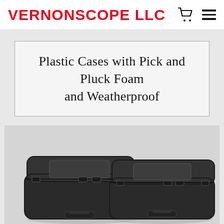VERNONSCOPE LLC
Plastic Cases with Pick and Pluck Foam and Weatherproof
[Figure (photo): Two black weatherproof plastic cases with pick and pluck foam, shown side by side on a light gray background. Both cases are closed, rectangular, and feature latches and handles.]